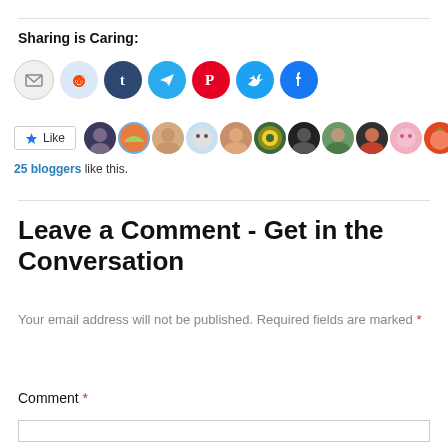Sharing is Caring:
[Figure (other): Row of social sharing icon buttons: email (grey), Reddit (light blue), Tumblr (dark blue), Telegram (cyan), Pinterest (red), Twitter (blue), Facebook (blue)]
[Figure (other): Like button with star icon and a strip of 11 blogger avatar thumbnails]
25 bloggers like this.
Leave a Comment - Get in the Conversation
Your email address will not be published. Required fields are marked *
Comment *